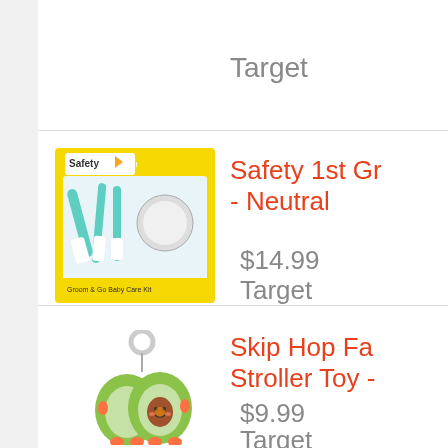Target
[Figure (photo): Safety 1st Groom & Go Baby Care Kit product image in yellow packaging with teal/mint colored grooming tools]
Safety 1st Gr… - Neutral
$14.99
Target
[Figure (photo): Skip Hop Farmstand Avocado stroller toy - avocado shaped plush toy with orange feet and a ring clip]
Skip Hop Fa… Stroller Toy -…
$9.99
Target